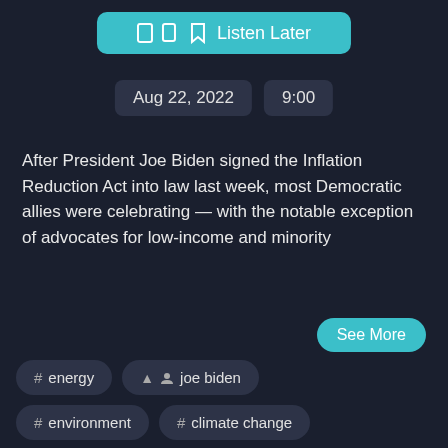Listen Later
Aug 22, 2022   9:00
After President Joe Biden signed the Inflation Reduction Act into law last week, most Democratic allies were celebrating — with the notable exception of advocates for low-income and minority
See More
# energy
joe biden
# environment
# climate change
# advocates
# democrats
# climate
# democratic
# politico